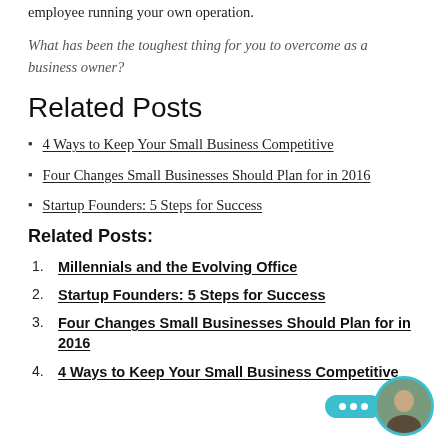employee running your own operation.
What has been the toughest thing for you to overcome as a business owner?
Related Posts
4 Ways to Keep Your Small Business Competitive
Four Changes Small Businesses Should Plan for in 2016
Startup Founders: 5 Steps for Success
Related Posts:
1. Millennials and the Evolving Office
2. Startup Founders: 5 Steps for Success
3. Four Changes Small Businesses Should Plan for in 2016
4. 4 Ways to Keep Your Small Business Competitive